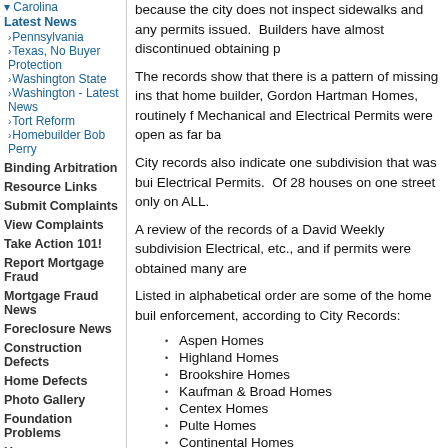because the city does not inspect sidewalks and any permits issued. Builders have almost discontinued obtaining p
The records show that there is a pattern of missing ins that home builder, Gordon Hartman Homes, routinely f Mechanical and Electrical Permits were open as far ba
City records also indicate one subdivision that was bui Electrical Permits. Of 28 houses on one street only on ALL.
A review of the records of a David Weekly subdivision Electrical, etc., and if permits were obtained many are
Listed in alphabetical order are some of the home buil enforcement, according to City Records:
Aspen Homes
Highland Homes
Brookshire Homes
Kaufman & Broad Homes
Centex Homes
Pulte Homes
Continental Homes
Prestige Homes
David Weekly Homes
Ryland Homes
Gordon Hartman Homes
A Building Inspector is a